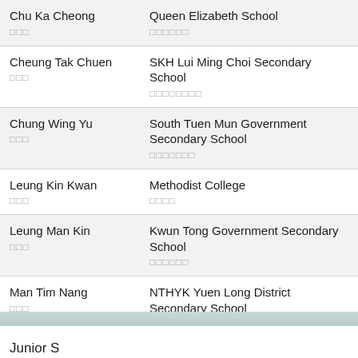| Name | School |
| --- | --- |
| Chu Ka Cheong
朱家強 | Queen Elizabeth School
伊利沙伯中學 |
| Cheung Tak Chuen
張德泉 | SKH Lui Ming Choi Secondary School
聖公會呂明才中學 |
| Chung Wing Yu
鍾泳如 | South Tuen Mun Government Secondary School
屯門南政府中學 |
| Leung Kin Kwan
梁健君 | Methodist College
衛理書院 |
| Leung Man Kin
梁文健 | Kwun Tong Government Secondary School
觀塘官立中學 |
| Man Tim Nang
文添能 | NTHYK Yuen Long District Secondary School
元朗區中學 |
| Ng Chun Wang
吳俊宏 | St Louis School
聖路易中學 |